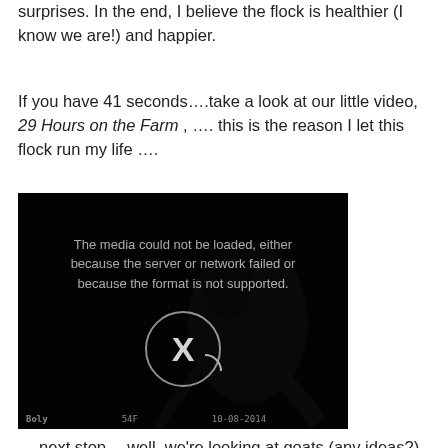surprises. In the end, I believe the flock is healthier (I know we are!) and happier.
If you have 41 seconds….take a look at our little video, 29 Hours on the Farm , …. this is the reason I let this flock run my life ….
[Figure (screenshot): A dark/black video player showing an error message: 'The media could not be loaded, either because the server or network failed or because the format is not supported.' with an X inside a circle, and a night-vision style image of an animal in the background. Video metadata at bottom: Boly 54F 10-08-2014.]
….next stop….well, we're looking at goats (any ideas?), but I think I need a trip to Disneyland first!!! I've definitely